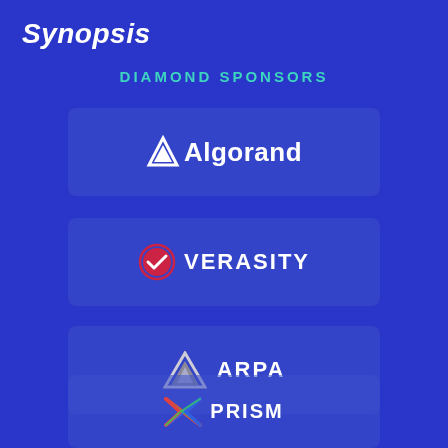Synopsis
Diamond Sponsors
[Figure (logo): Algorand logo — stylized A icon followed by Algorand wordmark in white]
[Figure (logo): Verasity logo — circular check icon in red/pink and VERASITY text in white]
[Figure (logo): ARPA logo — silver triangle icon and ARPA text in white]
[Figure (logo): PRISM logo — colorful X/cross icon and PRISM text in white]